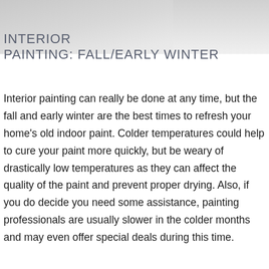[Figure (photo): Background photo showing interior or painting scene, displayed at top of page]
INTERIOR PAINTING: FALL/EARLY WINTER
Interior painting can really be done at any time, but the fall and early winter are the best times to refresh your home’s old indoor paint. Colder temperatures could help to cure your paint more quickly, but be weary of drastically low temperatures as they can affect the quality of the paint and prevent proper drying. Also, if you do decide you need some assistance, painting professionals are usually slower in the colder months and may even offer special deals during this time.